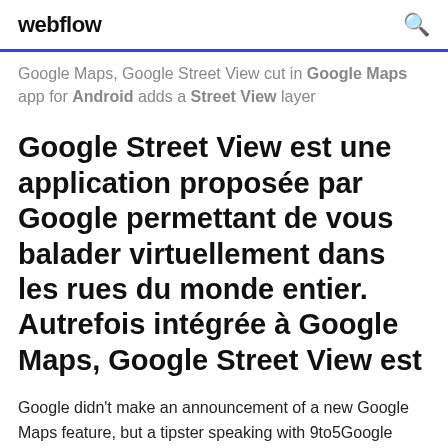webflow
Google Maps, Google Street View cut in Google Maps app for Android adds a Street View layer
Google Street View est une application proposée par Google permettant de vous balader virtuellement dans les rues du monde entier. Autrefois intégrée à Google Maps, Google Street View est
Google didn't make an announcement of a new Google Maps feature, but a tipster speaking with 9to5Google spotted one: a new Street View layer available in the Android app. This